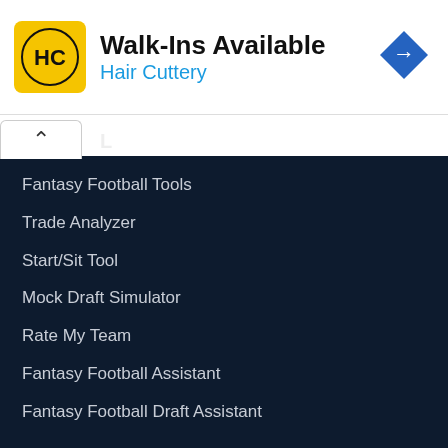[Figure (logo): Hair Cuttery advertisement banner with HC logo in yellow circle, text Walk-Ins Available and Hair Cuttery in blue, navigation arrow icon on right]
Fantasy Football Tools
Trade Analyzer
Start/Sit Tool
Mock Draft Simulator
Rate My Team
Fantasy Football Assistant
Fantasy Football Draft Assistant
Waiver Wire
Injury News
Fantasy Football Assistant
Target/Touch Leaders
Average Draft Position